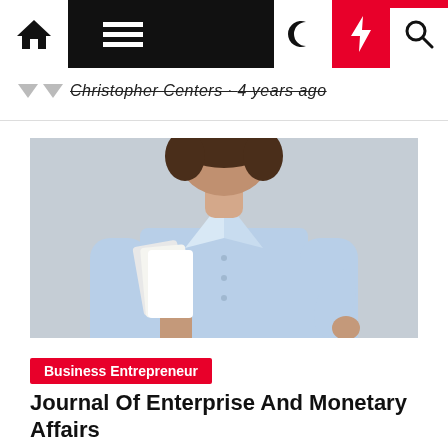Navigation bar with home, menu, moon, bolt, and search icons
Christopher Centers · 4 years ago
[Figure (photo): Woman in light blue dress shirt holding books/documents, photographed from shoulders down against a light grey background]
Business Entrepreneur
Journal Of Enterprise And Monetary Affairs